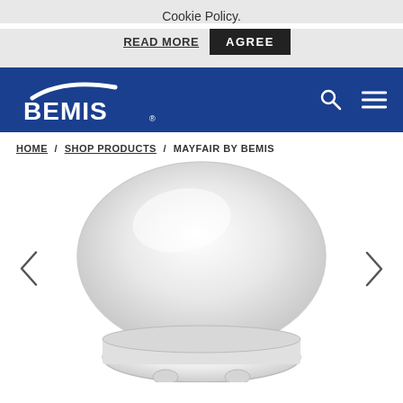Cookie Policy.
READ MORE   AGREE
[Figure (logo): BEMIS logo in white on blue navigation header background, with search and hamburger menu icons on the right]
HOME / SHOP PRODUCTS / MAYFAIR BY BEMIS
[Figure (photo): White toilet seat product photo, partially cropped, showing the top and ring of the seat against a white background, with left and right navigation arrows on either side]